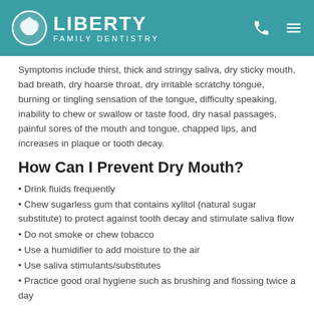Liberty Family Dentistry
Symptoms include thirst, thick and stringy saliva, dry sticky mouth, bad breath, dry hoarse throat, dry irritable scratchy tongue, burning or tingling sensation of the tongue, difficulty speaking, inability to chew or swallow or taste food, dry nasal passages, painful sores of the mouth and tongue, chapped lips, and increases in plaque or tooth decay.
How Can I Prevent Dry Mouth?
Drink fluids frequently
Chew sugarless gum that contains xylitol (natural sugar substitute) to protect against tooth decay and stimulate saliva flow
Do not smoke or chew tobacco
Use a humidifier to add moisture to the air
Use saliva stimulants/substitutes
Practice good oral hygiene such as brushing and flossing twice a day
What Are the Treatment Solutions?